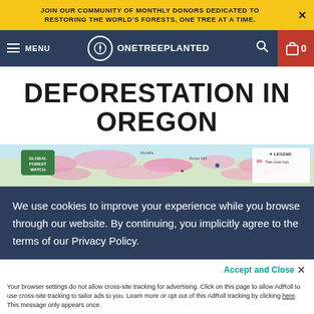JOIN OUR COMMUNITY OF MONTHLY DONORS DEDICATED TO RESTORING THE WORLD'S FORESTS, ONE TREE AT A TIME.
MENU | ONETREEPLANTED | 0
DEFORESTATION IN OREGON
[Figure (map): Global Forest Watch map showing tree cover loss in Oregon region, with pink/magenta areas indicating deforestation, with legend panel on right side.]
We use cookies to improve your experience while you browse through our website. By continuing, you implicitly agree to the terms of our Privacy Policy.
Accept and Close ×
Your browser settings do not allow cross-site tracking for advertising. Click on this page to allow AdRoll to use cross-site tracking to tailor ads to you. Learn more or opt out of this AdRoll tracking by clicking here. This message only appears once.